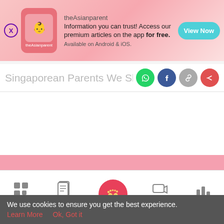[Figure (screenshot): Ad banner for theAsianparent app with close button, logo, text and View Now button]
Singaporean Parents We Should Not
[Figure (screenshot): Share icons: WhatsApp (green), Facebook (blue), link (grey), share (red)]
[Figure (infographic): Pink banner area in middle of page]
[Figure (screenshot): Bottom navigation bar with Tools, Articles, home (baby feet), Feed, Poll icons]
We use cookies to ensure you get the best experience.
Learn More   Ok, Got it